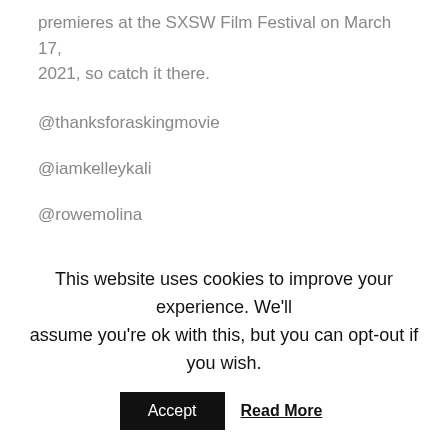premieres at the SXSW Film Festival on March 17, 2021, so catch it there.
@thanksforaskingmovie
@iamkelleykali
@rowemolina
@artistrydna @abigailliu_
This website uses cookies to improve your experience. We'll assume you're ok with this, but you can opt-out if you wish.
Accept
Read More